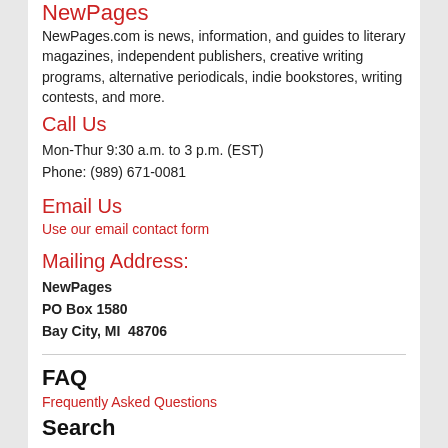NewPages
NewPages.com is news, information, and guides to literary magazines, independent publishers, creative writing programs, alternative periodicals, indie bookstores, writing contests, and more.
Call Us
Mon-Thur 9:30 a.m. to 3 p.m. (EST)
Phone: (989) 671-0081
Email Us
Use our email contact form
Mailing Address:
NewPages
PO Box 1580
Bay City, MI  48706
FAQ
Frequently Asked Questions
Search